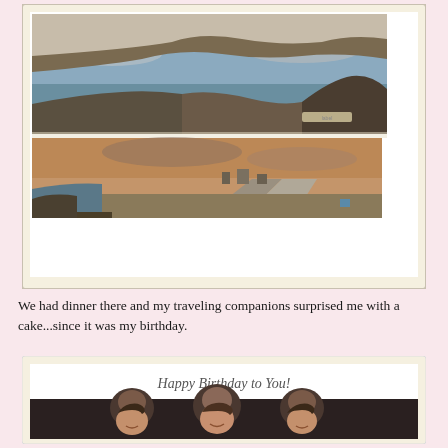[Figure (photo): Polaroid-style collage of two vintage travel photographs: top image shows rocky coastline with waves and clouds; bottom image shows a road or runway extending toward a waterfront settlement at golden hour.]
We had dinner there and my traveling companions surprised me with a cake...since it was my birthday.
[Figure (photo): Vintage polaroid photograph showing three young women smiling at camera in a dark setting, with 'Happy Birthday to You!' written in cursive at the top of the polaroid border.]